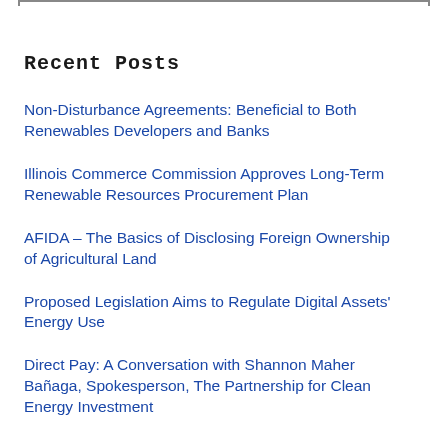Recent Posts
Non-Disturbance Agreements: Beneficial to Both Renewables Developers and Banks
Illinois Commerce Commission Approves Long-Term Renewable Resources Procurement Plan
AFIDA – The Basics of Disclosing Foreign Ownership of Agricultural Land
Proposed Legislation Aims to Regulate Digital Assets' Energy Use
Direct Pay: A Conversation with Shannon Maher Bañaga, Spokesperson, The Partnership for Clean Energy Investment